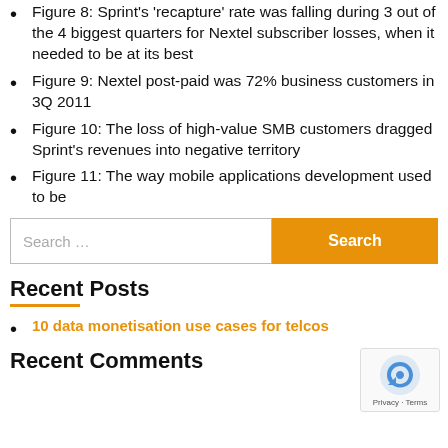Figure 8: Sprint's 'recapture' rate was falling during 3 out of the 4 biggest quarters for Nextel subscriber losses, when it needed to be at its best
Figure 9: Nextel post-paid was 72% business customers in 3Q 2011
Figure 10: The loss of high-value SMB customers dragged Sprint's revenues into negative territory
Figure 11: The way mobile applications development used to be
Recent Posts
10 data monetisation use cases for telcos
Recent Comments